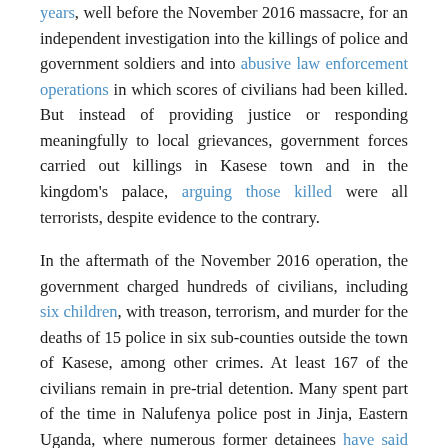years, well before the November 2016 massacre, for an independent investigation into the killings of police and government soldiers and into abusive law enforcement operations in which scores of civilians had been killed. But instead of providing justice or responding meaningfully to local grievances, government forces carried out killings in Kasese town and in the kingdom's palace, arguing those killed were all terrorists, despite evidence to the contrary.
In the aftermath of the November 2016 operation, the government charged hundreds of civilians, including six children, with treason, terrorism, and murder for the deaths of 15 police in six sub-counties outside the town of Kasese, among other crimes. At least 167 of the civilians remain in pre-trial detention. Many spent part of the time in Nalufenya police post in Jinja, Eastern Uganda, where numerous former detainees have said they were tortured.
At initial hearings against the accused in 2016